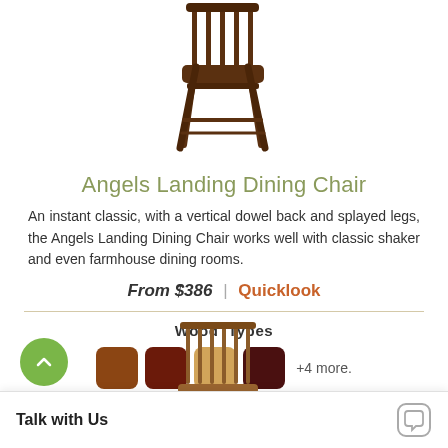[Figure (photo): Angels Landing Dining Chair — dark walnut wooden chair with vertical dowel back and splayed legs, viewed from front-left angle]
Angels Landing Dining Chair
An instant classic, with a vertical dowel back and splayed legs, the Angels Landing Dining Chair works well with classic shaker and even farmhouse dining rooms.
From $386 | Quicklook
Wood Types
[Figure (illustration): Four wood type color swatches (brown, dark red, light tan, dark maroon) with '+4 more.' text]
[Figure (photo): Partial view of another dining chair at the bottom of the page]
Talk with Us